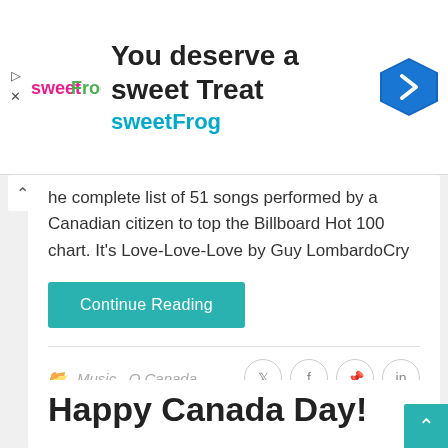[Figure (other): SweetFrog advertisement banner with logo, headline 'You deserve a sweet Treat', subtext 'sweetFrog', and a blue navigation arrow icon]
he complete list of 51 songs performed by a Canadian citizen to top the Billboard Hot 100 chart. It's Love-Love-Love by Guy LombardoCry
Continue Reading
Music,  O Canada
Happy Canada Day!